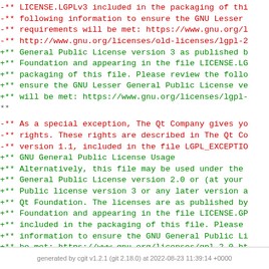Diff code block showing license text changes in red (removed) and green (added), followed by a neutral section with $QT_END_LICENSE$
generated by cgit v1.2.1 (git 2.18.0) at 2022-08-23 11:39:14 +0000